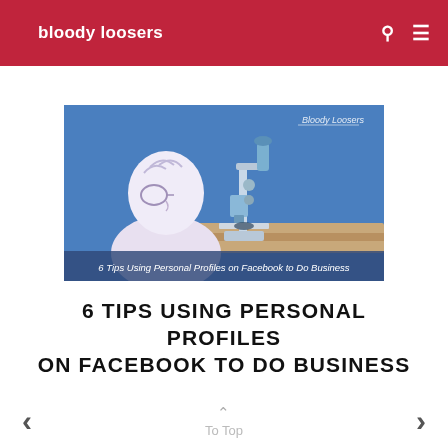bloody loosers
[Figure (illustration): Cartoon illustration of a bald figure wearing glasses looking through a microscope on a blue background. Text overlay reads '6 Tips Using Personal Profiles on Facebook to Do Business'. Watermark 'Bloody Loosers' in upper right.]
6 TIPS USING PERSONAL PROFILES ON FACEBOOK TO DO BUSINESS
To Top